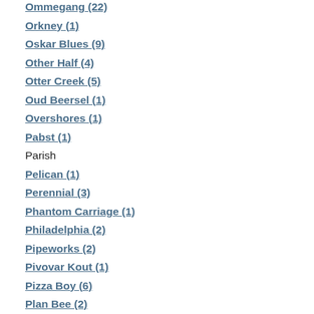Ommegang (22)
Orkney (1)
Oskar Blues (9)
Other Half (4)
Otter Creek (5)
Oud Beersel (1)
Overshores (1)
Pabst (1)
Parish
Pelican (1)
Perennial (3)
Phantom Carriage (1)
Philadelphia (2)
Pipeworks (2)
Pivovar Kout (1)
Pizza Boy (6)
Plan Bee (2)
Platform (1)
Port Brewing (4)
Port City (1)
Prairie (7)